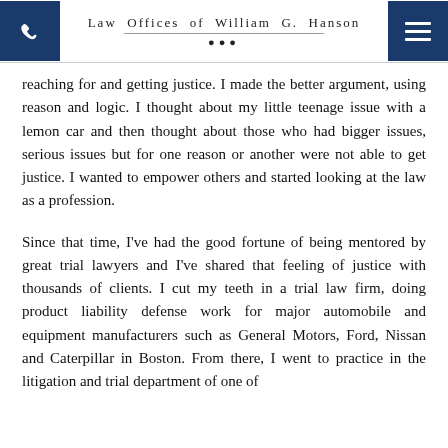Law Offices of William G. Hanson
reaching for and getting justice. I made the better argument, using reason and logic. I thought about my little teenage issue with a lemon car and then thought about those who had bigger issues, serious issues but for one reason or another were not able to get justice. I wanted to empower others and started looking at the law as a profession.
Since that time, I've had the good fortune of being mentored by great trial lawyers and I've shared that feeling of justice with thousands of clients. I cut my teeth in a trial law firm, doing product liability defense work for major automobile and equipment manufacturers such as General Motors, Ford, Nissan and Caterpillar in Boston. From there, I went to practice in the litigation and trial department of one of